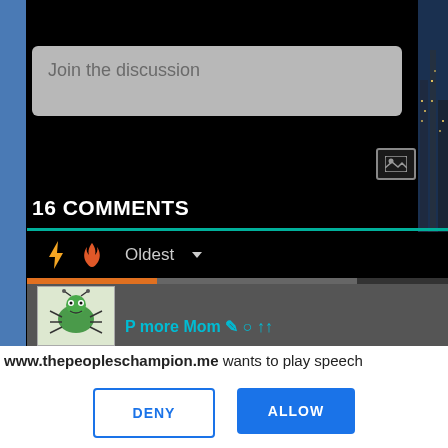[Figure (screenshot): Screenshot of a web comments section with dark background showing '16 COMMENTS', a 'Join the discussion' input box, sort icons (lightning bolt, flame), 'Oldest' dropdown, teal divider line, and a partial comment with green bug avatar. Behind it a city skyline is visible on the right edge.]
www.thepeopleschampion.me wants to play speech
DENY
ALLOW